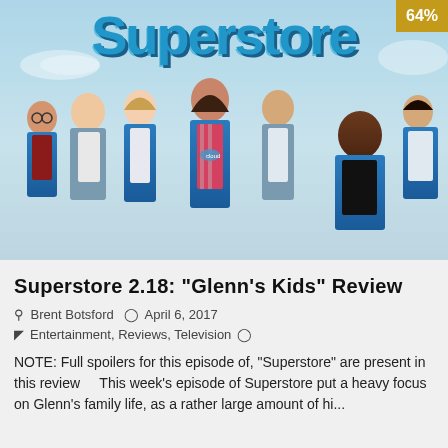[Figure (photo): Promotional photo for the TV show Superstore showing the cast in blue store vests against a light blue background, with the Superstore logo at the top and a gold score badge showing 64% in the top right corner]
Superstore 2.18: “Glenn’s Kids” Review
Brent Botsford  April 6, 2017
Entertainment, Reviews, Television
NOTE: Full spoilers for this episode of, "Superstore" are present in this review      This week's episode of Superstore put a heavy focus on Glenn's family life, as a rather large amount of hi...